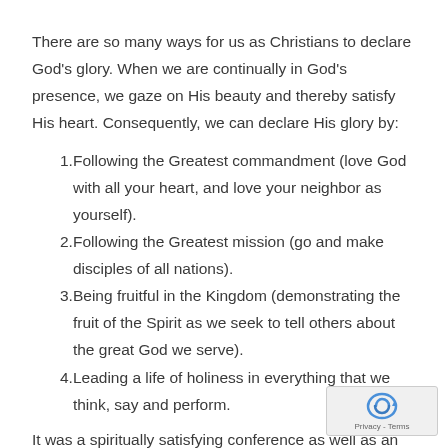There are so many ways for us as Christians to declare God's glory. When we are continually in God's presence, we gaze on His beauty and thereby satisfy His heart. Consequently, we can declare His glory by:
Following the Greatest commandment (love God with all your heart, and love your neighbor as yourself).
Following the Greatest mission (go and make disciples of all nations).
Being fruitful in the Kingdom (demonstrating the fruit of the Spirit as we seek to tell others about the great God we serve).
Leading a life of holiness in everything that we think, say and perform.
It was a spiritually satisfying conference as well as an…